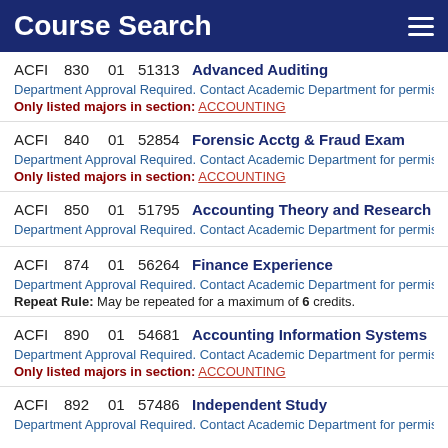Course Search
ACFI 830 01 51313 Advanced Auditing
Department Approval Required. Contact Academic Department for permission then r
Only listed majors in section: ACCOUNTING
ACFI 840 01 52854 Forensic Acctg & Fraud Exam
Department Approval Required. Contact Academic Department for permission then r
Only listed majors in section: ACCOUNTING
ACFI 850 01 51795 Accounting Theory and Research
Department Approval Required. Contact Academic Department for permission then r
ACFI 874 01 56264 Finance Experience
Department Approval Required. Contact Academic Department for permission then r
Repeat Rule: May be repeated for a maximum of 6 credits.
ACFI 890 01 54681 Accounting Information Systems
Department Approval Required. Contact Academic Department for permission then r
Only listed majors in section: ACCOUNTING
ACFI 892 01 57486 Independent Study
Department Approval Required. Contact Academic Department for permission then r